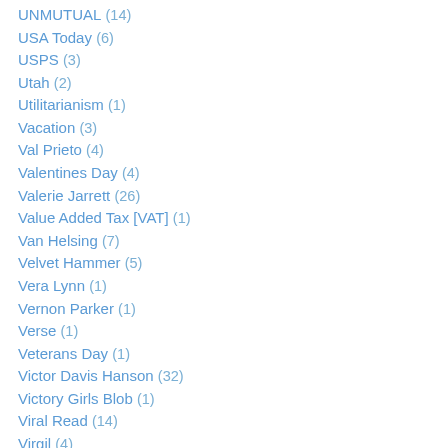UNMUTUAL (14)
USA Today (6)
USPS (3)
Utah (2)
Utilitarianism (1)
Vacation (3)
Val Prieto (4)
Valentines Day (4)
Valerie Jarrett (26)
Value Added Tax [VAT] (1)
Van Helsing (7)
Velvet Hammer (5)
Vera Lynn (1)
Vernon Parker (1)
Verse (1)
Veterans Day (1)
Victor Davis Hanson (32)
Victory Girls Blob (1)
Viral Read (14)
Virgil (4)